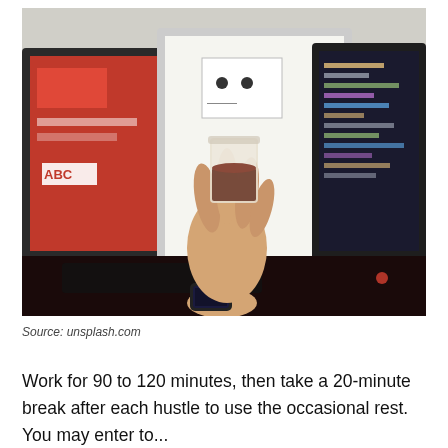[Figure (photo): A hand holding a glass of coffee/espresso in front of two computer monitors showing code and design work. The person is wearing a smartwatch. The monitors have red and dark themes with code visible.]
Source: unsplash.com
Work for 90 to 120 minutes, then take a 20-minute break after each hustle to use the occasional rest. You may enter to...